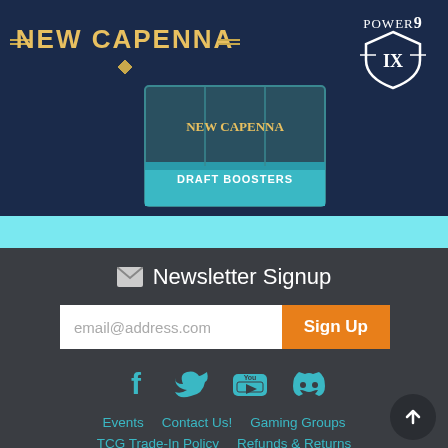[Figure (screenshot): Streets of New Capenna draft booster box promotional banner with golden stylized title text and Power9 logo in top right corner, on dark blue background]
Newsletter Signup
email@address.com
Sign Up
[Figure (infographic): Social media icons: Facebook, Twitter, YouTube, Discord in teal/cyan color]
Events
Contact Us!
Gaming Groups
TCG Trade-In Policy
Refunds & Returns